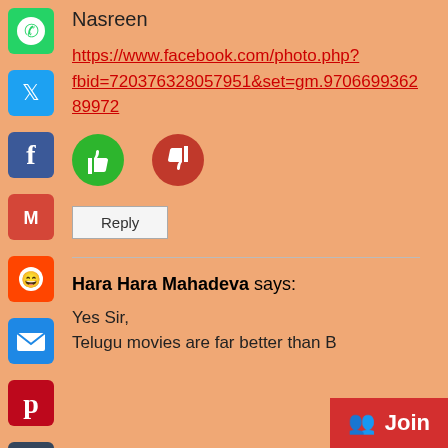[Figure (infographic): Social media sharing sidebar with icons: WhatsApp (green), Twitter (blue), Facebook (blue), Gmail (red), Reddit (orange-red), Email (blue), Pinterest (red), Tumblr (dark), LinkedIn (blue), Plus/More (blue)]
Nasreen
https://www.facebook.com/photo.php?fbid=720376328057951&set=gm.97066993628 9972
[Figure (infographic): Thumbs up (green circle) and thumbs down (dark red circle) voting buttons]
Reply
Hara Hara Mahadeva says:
Yes Sir,
Telugu movies are far better than B
Join